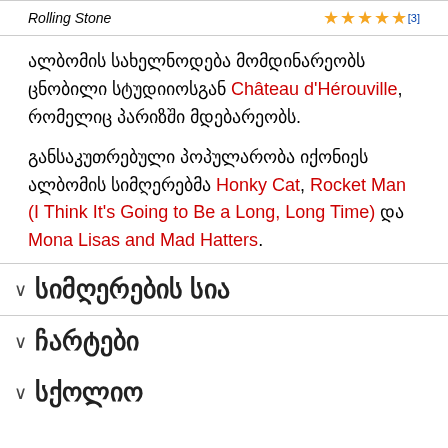| Rolling Stone | ★★★★★ [3] |
| --- | --- |
ალბომის სახელნოდება მომდინარეობს ცნობილი სტუდიიოსგან Château d'Hérouville, რომელიც პარიზში მდებარეობს.
განსაკუთრებული პოპულარობა იქონიეს ალბომის სიმღერებმა Honky Cat, Rocket Man (I Think It's Going to Be a Long, Long Time) და Mona Lisas and Mad Hatters.
სიმღერების სია
ჩარტები
სქოლიო